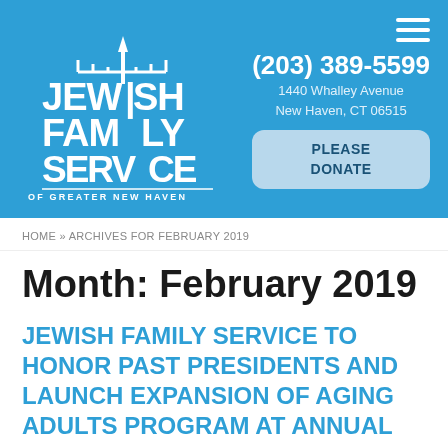[Figure (logo): Jewish Family Service of Greater New Haven logo with menorah/candle graphic, white text on blue background]
(203) 389-5599
1440 Whalley Avenue
New Haven, CT 06515
PLEASE DONATE
HOME » ARCHIVES FOR FEBRUARY 2019
Month: February 2019
JEWISH FAMILY SERVICE TO HONOR PAST PRESIDENTS AND LAUNCH EXPANSION OF AGING ADULTS PROGRAM AT ANNUAL